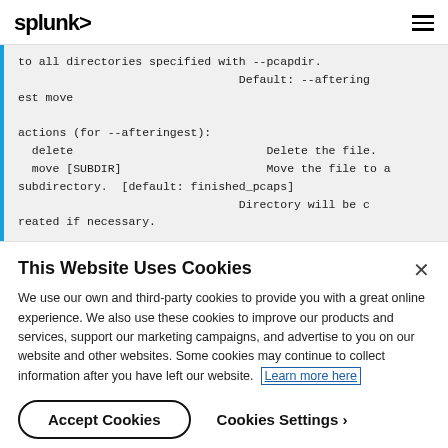splunk>
to all directories specified with --pcapdir.
                                Default: --aftering
est move

actions (for --afteringest):
  delete                          Delete the file.
  move [SUBDIR]                   Move the file to a
subdirectory.  [default: finished_pcaps]
                                Directory will be c
reated if necessary.
This Website Uses Cookies
We use our own and third-party cookies to provide you with a great online experience. We also use these cookies to improve our products and services, support our marketing campaigns, and advertise to you on our website and other websites. Some cookies may continue to collect information after you have left our website. Learn more here
Accept Cookies    Cookies Settings ›